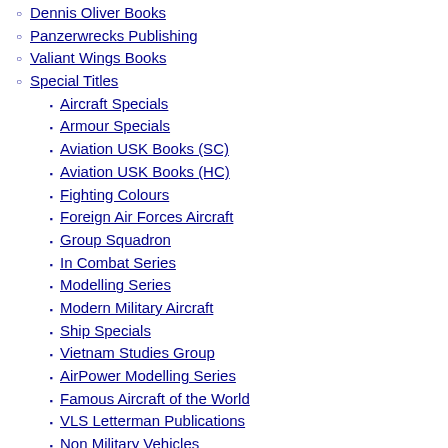Dennis Oliver Books
Panzerwrecks Publishing
Valiant Wings Books
Special Titles
Aircraft Specials
Armour Specials
Aviation USK Books (SC)
Aviation USK Books (HC)
Fighting Colours
Foreign Air Forces Aircraft
Group Squadron
In Combat Series
Modelling Series
Modern Military Aircraft
Ship Specials
Vietnam Studies Group
AirPower Modelling Series
Famous Aircraft of the World
VLS Letterman Publications
Non Military Vehicles
Tamiya Publications
Full Size Reference
Cars
Armour
Radio Control